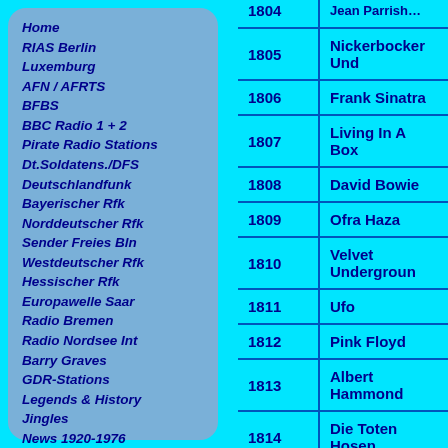Home
RIAS Berlin
Luxemburg
AFN / AFRTS
BFBS
BBC Radio 1 + 2
Pirate Radio Stations
Dt.Soldatens./DFS
Deutschlandfunk
Bayerischer Rfk
Norddeutscher Rfk
Sender Freies Bln
Westdeutscher Rfk
Hessischer Rfk
Europawelle Saar
Radio Bremen
Radio Nordsee Int
Barry Graves
GDR-Stations
Legends & History
Jingles
News 1920-1976
Links
Archives
Indikative / Intros
My Charts
Oldiestopten
Guestbook
| # | Artist |
| --- | --- |
| 1805 | Nickerbocker Und |
| 1806 | Frank Sinatra |
| 1807 | Living In A Box |
| 1808 | David Bowie |
| 1809 | Ofra Haza |
| 1810 | Velvet Underground |
| 1811 | Ufo |
| 1812 | Pink Floyd |
| 1813 | Albert Hammond |
| 1814 | Die Toten Hosen |
| 1815 | Hawkwind |
| 1816 | Suzanne Vega |
| 1817 | Martika |